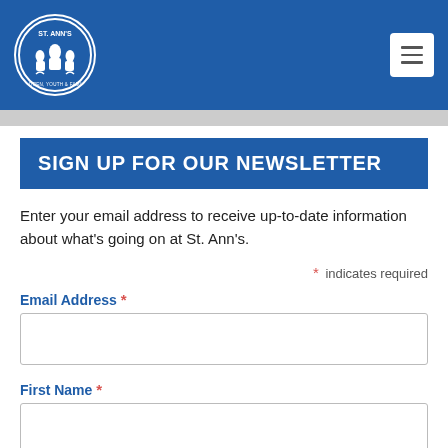[Figure (logo): St. Ann's circular logo with white border on blue background, showing figures of adults and children]
[Figure (other): White hamburger/menu button with three horizontal lines on white rounded rectangle background]
SIGN UP FOR OUR NEWSLETTER
Enter your email address to receive up-to-date information about what's going on at St. Ann's.
* indicates required
Email Address *
First Name *